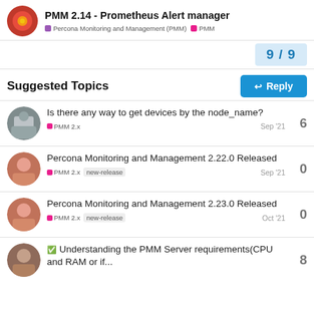PMM 2.14 - Prometheus Alert manager | Percona Monitoring and Management (PMM) | PMM
9 / 9
Reply
Suggested Topics
Is there any way to get devices by the node_name? | PMM 2.x | Sep '21 | 6
Percona Monitoring and Management 2.22.0 Released | PMM 2.x | new-release | Sep '21 | 0
Percona Monitoring and Management 2.23.0 Released | PMM 2.x | new-release | Oct '21 | 0
Understanding the PMM Server requirements(CPU and RAM or if... | 8